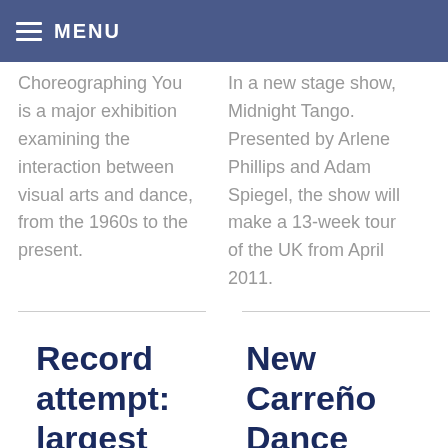MENU
Choreographing You is a major exhibition examining the interaction between visual arts and dance, from the 1960s to the present.
In a new stage show, Midnight Tango. Presented by Arlene Phillips and Adam Spiegel, the show will make a 13-week tour of the UK from April 2011.
Record attempt: largest
New Carreño Dance